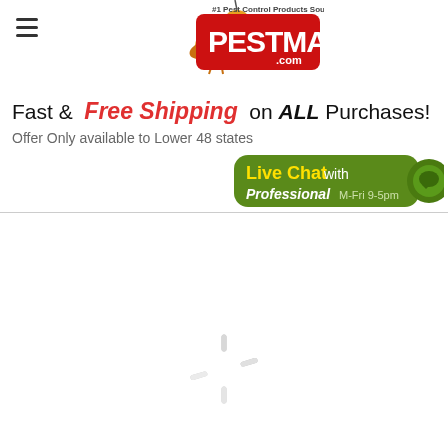[Figure (logo): PestMall.com logo with cartoon bird and red banner, #1 Pest Control Products Source!]
Fast &  Free Shipping  on ALL Purchases!
Offer Only available to Lower 48 states
[Figure (infographic): Live Chat with Professional M-Fri 9-5pm green button with chat bubble icon]
[Figure (other): Loading spinner (circular progress indicator)]